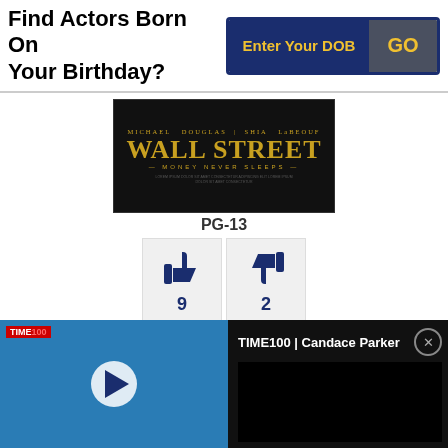Find Actors Born On Your Birthday?
[Figure (screenshot): DOB entry widget with dark navy background, gold 'Enter Your DOB' label and gold 'GO' button]
[Figure (photo): Wall Street: Money Never Sleeps movie poster — black background with Michael Douglas and LaBeouf credits in gold, large gold WALL STREET title, subtitle MONEY NEVER SLEEPS]
PG-13
[Figure (infographic): Thumbs up button with count 9 and thumbs down button with count 2]
After being released from prison for insider trading and securities fraud Gordon Gekko, is a successful writer with his book ‘Is Greed Good?’. He tries to reconnect
[Figure (screenshot): TIME100 video bar showing Candace Parker with play button on left photo and TIME100 | Candace Parker title on black right panel with close X button]